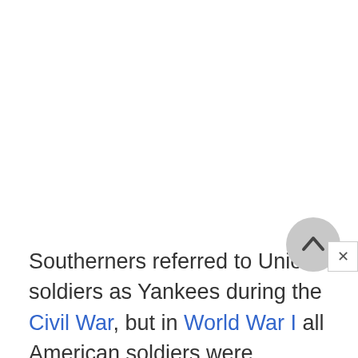Southerners referred to Union soldiers as Yankees during the Civil War, but in World War I all American soldiers were dubbed Yankees. As an ethnic group, the Yankee descends from the Congregational British settlers of